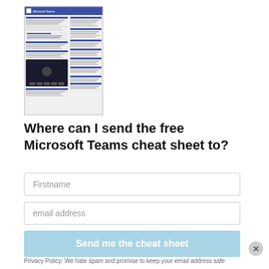[Figure (screenshot): Thumbnail preview of a Microsoft Teams cheat sheet document showing a multi-column layout with blue headers, text sections, and a dark video conference screenshot area.]
Where can I send the free Microsoft Teams cheat sheet to?
Firstname
email address
Send me the cheat sheet
Privacy Policy: We hate spam and promise to keep your email address safe